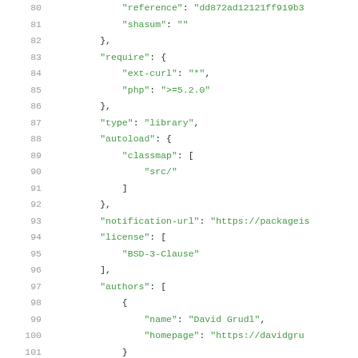Code listing lines 80-101 showing JSON configuration with reference, shasum, require, type, autoload, notification-url, license, and authors fields